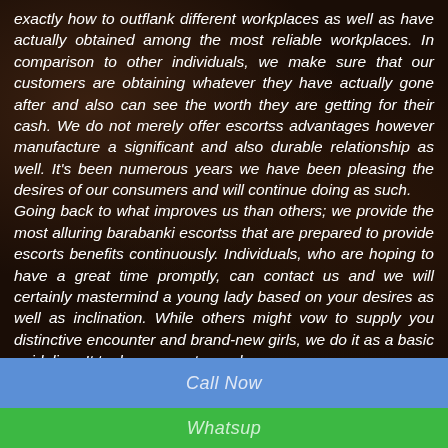exactly how to outflank different workplaces as well as have actually obtained among the most reliable workplaces. In comparison to other individuals, we make sure that our customers are obtaining whatever they have actually gone after and also can see the worth they are getting for their cash. We do not merely offer escortss advantages however manufacture a significant and also durable relationship as well. It's been numerous years we have been pleasing the desires of our consumers and will continue doing as such. Going back to what improves us than others; we provide the most alluring barabanki escortss that are prepared to provide escorts benefits continuously. Individuals, who are hoping to have a great time promptly, can contact us and we will certainly mastermind a young lady based on your desires as well as inclination. While others might vow to supply you distinctive encounter and brand-new girls, we do it as a basic guideline. It took us years to produce our
Call Now
Whatsup